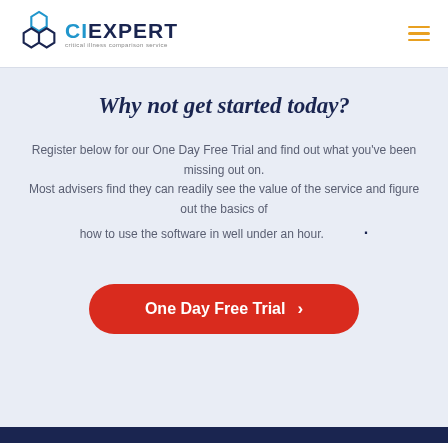[Figure (logo): CIExpert logo with hexagonal icon and tagline 'critical illness comparison service']
Why not get started today?
Register below for our One Day Free Trial and find out what you've been missing out on. Most advisers find they can readily see the value of the service and figure out the basics of how to use the software in well under an hour.
One Day Free Trial >